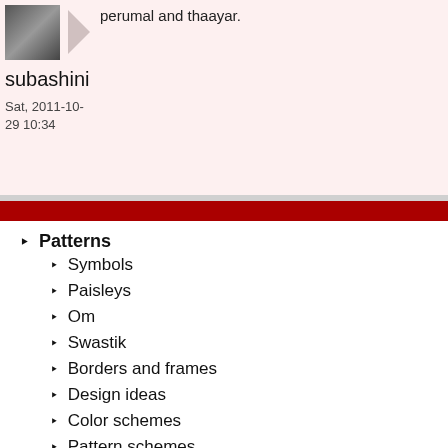perumal and thaayar.
subashini
Sat, 2011-10-29 10:34
Patterns
Symbols
Paisleys
Om
Swastik
Borders and frames
Design ideas
Color schemes
Pattern schemes
Simple to complex